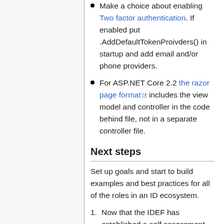Make a choice about enabling Two factor authentication. If enabled put .AddDefaultTokenProivders() in startup and add email and/or phone providers.
For ASP.NET Core 2.2 the razor page format includes the view model and controller in the code behind file, not in a separate controller file.
Next steps
Set up goals and start to build examples and best practices for all of the roles in an ID ecosystem.
Now that the IDEF has established a self assessment, work on enabling the ID ecosystem needs enable relying